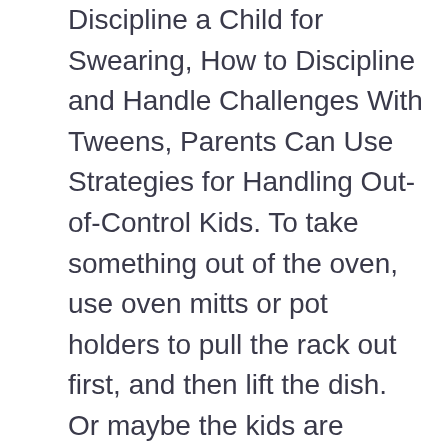Discipline a Child for Swearing, How to Discipline and Handle Challenges With Tweens, Parents Can Use Strategies for Handling Out-of-Control Kids. To take something out of the oven, use oven mitts or pot holders to pull the rack out first, and then lift the dish. Or maybe the kids are allowed to bang on the pots and pans in your kitchen but in Grandma's house, that's a no-no. Introducing basic rules for safety, following them yourself, and helping your children understand them is important. Safety Rules for Kids: 1. Minimise risks around the home. Safety Rules For Children Who Stay Home Alone, Safety Rules for Children Who Stay Home Alone, The Complete Idiot's Guide to Child Safety. A